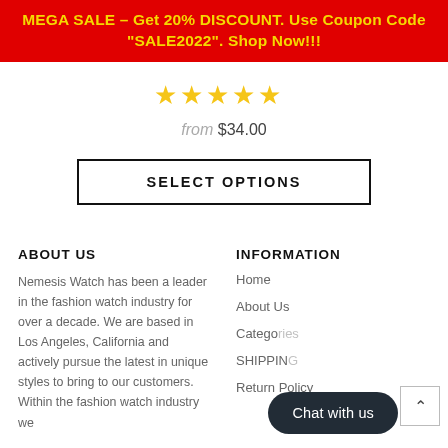MEGA SALE – Get 20% DISCOUNT. Use Coupon Code "SALE2022". Shop Now!!!
[Figure (other): Five gold star rating icons]
from $34.00
SELECT OPTIONS
ABOUT US
INFORMATION
Nemesis Watch has been a leader in the fashion watch industry for over a decade. We are based in Los Angeles, California and actively pursue the latest in unique styles to bring to our customers. Within the fashion watch industry we
Home
About Us
Categories
SHIPPING
Return Policy
Chat with us